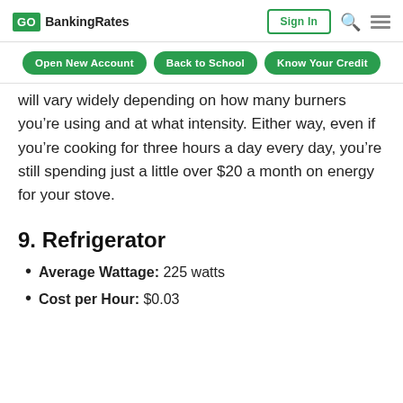GO BankingRates | Sign In
Open New Account | Back to School | Know Your Credit
will vary widely depending on how many burners you're using and at what intensity. Either way, even if you're cooking for three hours a day every day, you're still spending just a little over $20 a month on energy for your stove.
9. Refrigerator
Average Wattage: 225 watts
Cost per Hour: $0.03